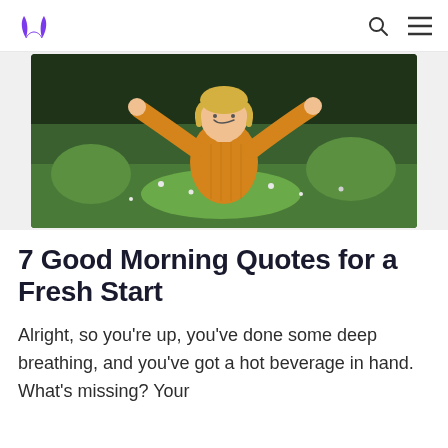Logo and navigation icons (search, menu)
[Figure (photo): A smiling young woman with blonde hair wearing a bright orange/yellow knit sweater, standing outdoors in a green meadow with wildflowers, arms raised joyfully above her head, trees in background.]
7 Good Morning Quotes for a Fresh Start
Alright, so you're up, you've done some deep breathing, and you've got a hot beverage in hand. What's missing? Your